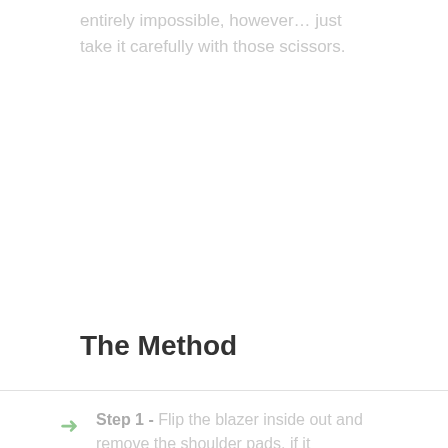entirely impossible, however… just take it carefully with those scissors.
The Method
Step 1 - Flip the blazer inside out and remove the shoulder pads, if it